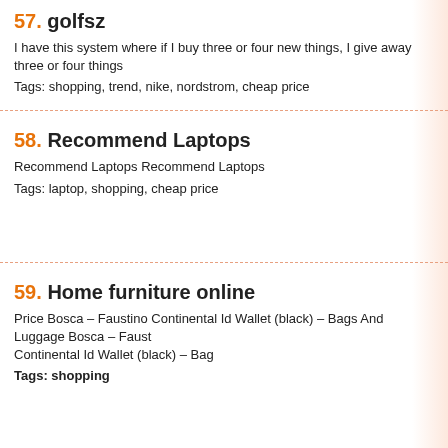57. golfsz
I have this system where if I buy three or four new things, I give away three or four things
Tags: shopping, trend, nike, nordstrom, cheap price
58. Recommend Laptops
Recommend Laptops Recommend Laptops
Tags: laptop, shopping, cheap price
59. Home furniture online
Price Bosca – Faustino Continental Id Wallet (black) – Bags And Luggage Bosca – Faustino Continental Id Wallet (black) – Bag
Tags: shopping